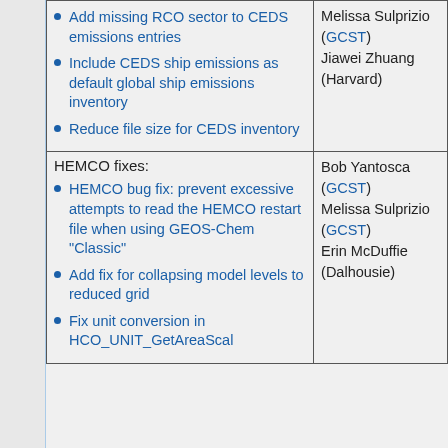| Features/Fixes | Contacts |
| --- | --- |
| Add missing RCO sector to CEDS emissions entries
Include CEDS ship emissions as default global ship emissions inventory
Reduce file size for CEDS inventory | Melissa Sulprizio (GCST)
Jiawei Zhuang (Harvard) |
| HEMCO fixes:
HEMCO bug fix: prevent excessive attempts to read the HEMCO restart file when using GEOS-Chem "Classic"
Add fix for collapsing model levels to reduced grid
Fix unit conversion in HCO_UNIT_GetAreaScal | Bob Yantosca (GCST)
Melissa Sulprizio (GCST)
Erin McDuffie (Dalhousie) |